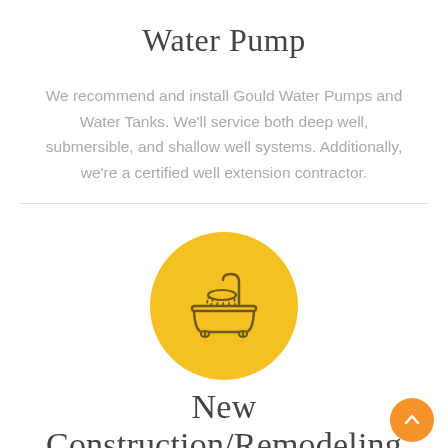Water Pump
We recommend and install Gould Water Pumps and Water Tanks. We'll service both deep well, submersible, and shallow well systems. Additionally, we're a certified well extension contractor.
[Figure (illustration): Yellow circle with a bathtub/shower icon inside, illustrating plumbing services.]
New Construction/Remodeling